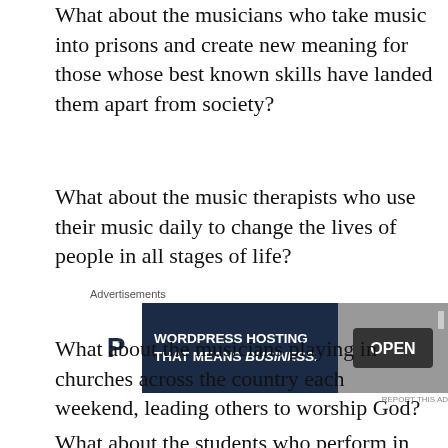What about the musicians who take music into prisons and create new meaning for those whose best known skills have landed them apart from society?
What about the music therapists who use their music daily to change the lives of people in all stages of life?
[Figure (other): Advertisement banner for WordPress hosting with text 'WORDPRESS HOSTING THAT MEANS BUSINESS.' and an OPEN sign photo]
What about the musicians playing in churches across the country each weekend, leading others to worship God?
What about the students who perform in nursing homes